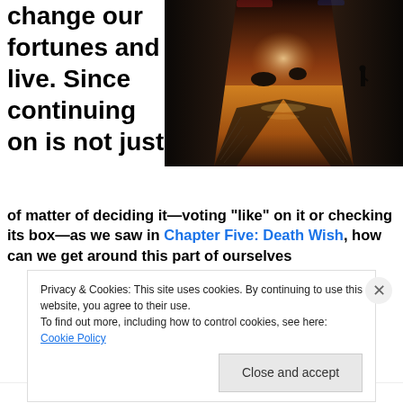change our fortunes and live. Since continuing on is not just
[Figure (photo): A dramatic landscape photo showing a person silhouetted against a glowing coastal scene viewed through a tunnel or corridor, with rocks in the water and light reflecting on the surface.]
of matter of deciding it—voting “like” on it or checking its box—as we saw in Chapter Five: Death Wish, how can we get around this part of ourselves
Privacy & Cookies: This site uses cookies. By continuing to use this website, you agree to their use.
To find out more, including how to control cookies, see here: Cookie Policy
Close and accept